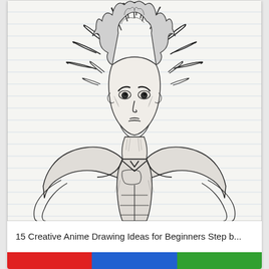[Figure (illustration): Pencil sketch of a Super Saiyan anime character (resembling Goku/Gohan from Dragon Ball Z) drawn on lined notebook paper. The character has wild spiky hair radiating outward, intense facial expression, muscular upper body, and is drawn in detailed graphite pencil strokes. The background shows the horizontal blue lines of notebook paper.]
15 Creative Anime Drawing Ideas for Beginners Step b...